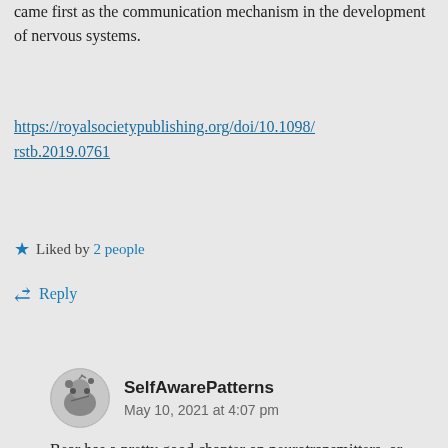came first as the communication mechanism in the development of nervous systems.
https://royalsocietypublishing.org/doi/10.1098/rstb.2019.0761
Liked by 2 people
Reply
SelfAwarePatterns
May 10, 2021 at 4:07 pm
Bear has a pretty good chapter on neurotransmitters, or more specifically,